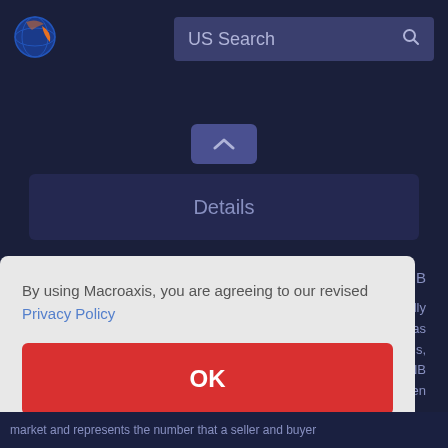[Figure (logo): Macroaxis globe logo — blue circle with orange crescent]
US Search
[Figure (screenshot): Dark navy panel with collapse arrow button and Details bar]
Details
n FNB
By using Macroaxis, you are agreeing to our revised Privacy Policy
pically
s as
s,
FNB
pen
OK
market and represents the number that a seller and buyer